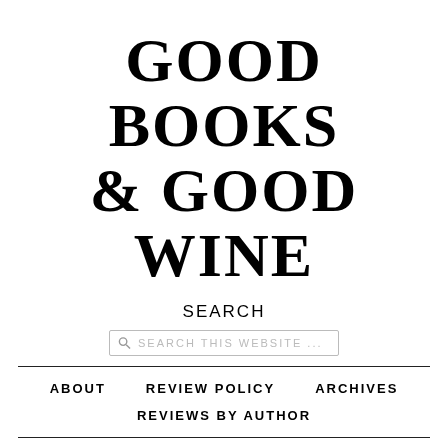GOOD BOOKS & GOOD WINE
SEARCH
[Figure (other): Search input box with magnifying glass icon and placeholder text 'SEARCH THIS WEBSITE ...']
ABOUT   REVIEW POLICY   ARCHIVES
REVIEWS BY AUTHOR
HOME AT LAST BLOG TOUR: EXCERPT & GIVEAWAY